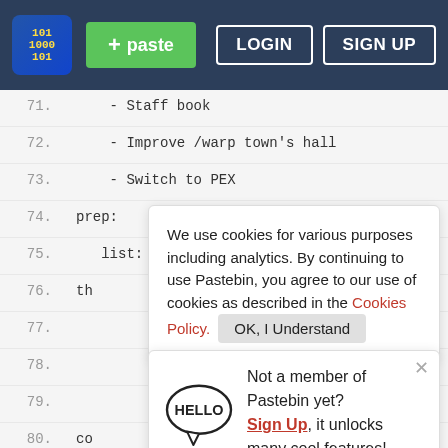Pastebin header with logo, paste button, login and sign up
71.    - Staff book
72.    - Improve /warp town's hall
73.    - Switch to PEX
74. prep:
75.    list: []
76. th
77.
78.
79.
80. co
81.
82.
83.    - Drawing - topic
84.    - performance/videos - singing, acting, etc.
85. players that need something:
86.    shortname: Players
87.    list:
Cookie banner: We use cookies for various purposes including analytics. By continuing to use Pastebin, you agree to our use of cookies as described in the Cookies Policy. OK, I Understand
Popup: Not a member of Pastebin yet? Sign Up, it unlocks many cool features!